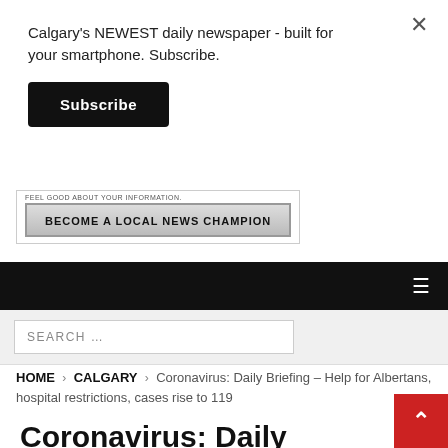Calgary's NEWEST daily newspaper - built for your smartphone. Subscribe.
Subscribe
[Figure (screenshot): Local news champion banner with text 'FEEL GOOD ABOUT YOUR INFORMATION. BECOME A LOCAL NEWS CHAMPION']
Navigation bar with hamburger menu
SEARCH ...
HOME > CALGARY > Coronavirus: Daily Briefing – Help for Albertans, hospital restrictions, cases rise to 119
Coronavirus: Daily Briefing – Help for Albertans, hospital